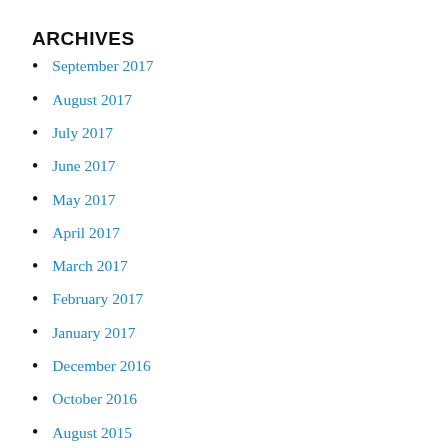ARCHIVES
September 2017
August 2017
July 2017
June 2017
May 2017
April 2017
March 2017
February 2017
January 2017
December 2016
October 2016
August 2015
July 2015
June 2015